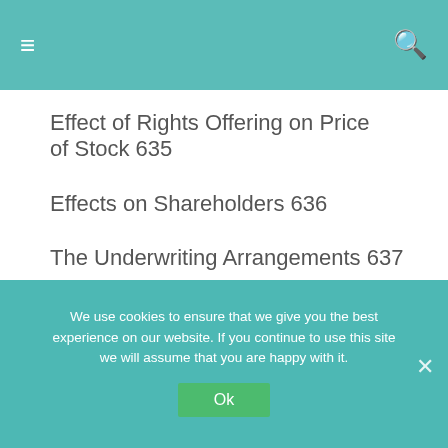≡  🔍
Effect of Rights Offering on Price of Stock 635
Effects on Shareholders 636
The Underwriting Arrangements 637
20.8 The Rights Puzzle 638
We use cookies to ensure that we give you the best experience on our website. If you continue to use this site we will assume that you are happy with it.
Ok